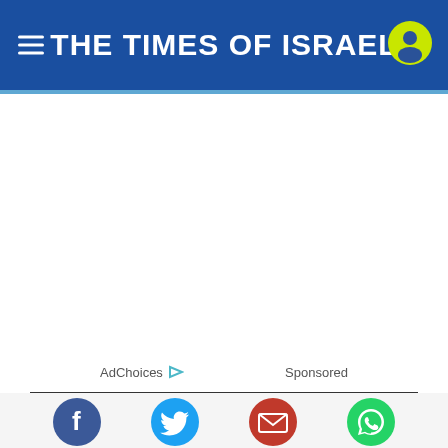THE TIMES OF ISRAEL
[Figure (screenshot): Large white advertisement area (blank ad unit)]
AdChoices ▷  Sponsored
[Figure (infographic): Social share buttons: Facebook, Twitter, Email, WhatsApp]